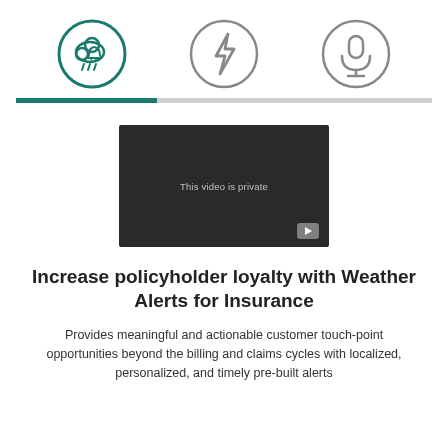[Figure (illustration): Three circular icons in a row: left icon (teal/green border) shows a cloud with rain and an alert bell; center icon (gray border) shows a lightning bolt; right icon (gray border) shows a microphone.]
[Figure (screenshot): Dark video player thumbnail showing text 'This video is private' with a gray play button in the bottom right corner.]
Increase policyholder loyalty with Weather Alerts for Insurance
Provides meaningful and actionable customer touch-point opportunities beyond the billing and claims cycles with localized, personalized, and timely pre-built alerts